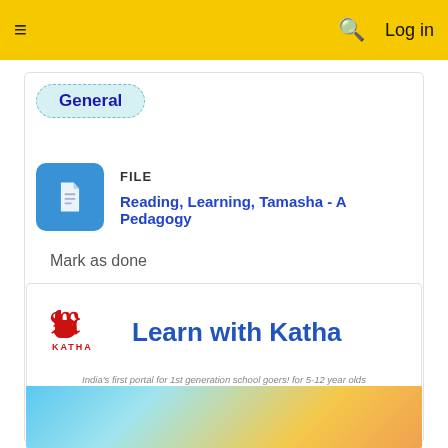≡   🔍   Log in
General
FILE
Reading, Learning, Tamasha - A Pedagogy
Mark as done
[Figure (logo): Katha logo with 'Learn with Katha' heading, taglines: India's first portal for 1st generation school goers! for 5-12 year olds / Creating a nations where EVERY CHILD can read!]
[Figure (illustration): Colorful illustration strip at the bottom of the page with blue, teal and orange/yellow hues]